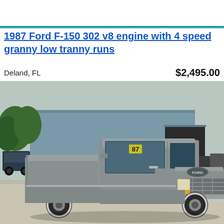1987 Ford F-150 302 v8 engine with 4 speed granny low tranny runs
Deland, FL    $2,495.00
[Figure (photo): A 1987 Ford F-150 pickup truck in gray/silver color parked in front of a blue industrial building. The truck has a yellow '87' sticker on the windshield. Various other vehicles and equipment are visible in the background.]